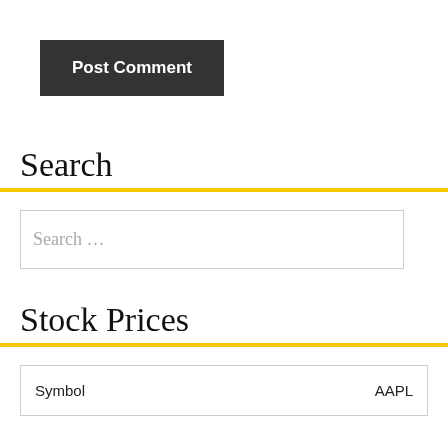[Figure (other): Dark gray 'Post Comment' button with white bold text]
Search
Search …
Stock Prices
| Symbol | AAPL |
| --- | --- |